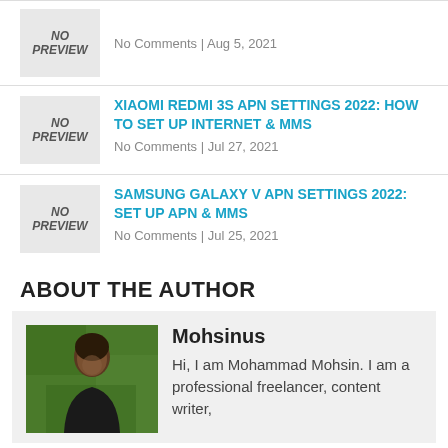No Comments | Aug 5, 2021
XIAOMI REDMI 3S APN SETTINGS 2022: HOW TO SET UP INTERNET & MMS
No Comments | Jul 27, 2021
SAMSUNG GALAXY V APN SETTINGS 2022: SET UP APN & MMS
No Comments | Jul 25, 2021
ABOUT THE AUTHOR
Mohsinus
Hi, I am Mohammad Mohsin. I am a professional freelancer, content writer,